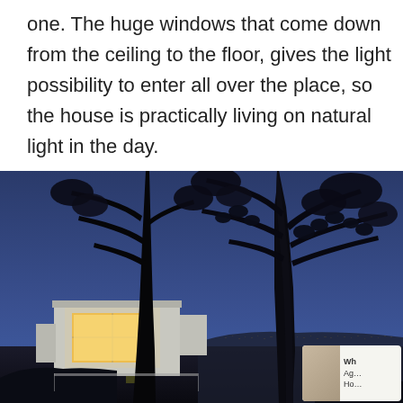one. The huge windows that come down from the ceiling to the floor, gives the light possibility to enter all over the place, so the house is practically living on natural light in the day.
[Figure (photo): Nighttime exterior photo of a modern house with floor-to-ceiling illuminated windows, surrounded by silhouetted tree branches against a deep blue twilight sky. City lights visible in the background on the right side.]